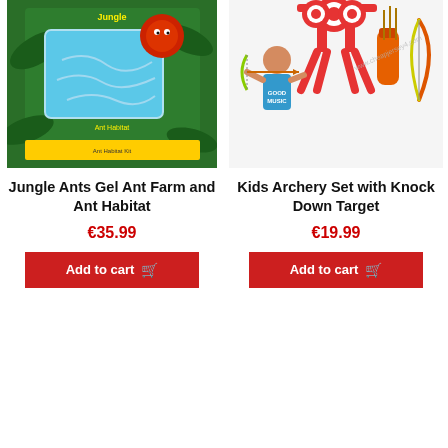[Figure (photo): Jungle Ants Gel Ant Farm and Ant Habitat product box showing a blue gel ant habitat with cartoon jungle animals including a red snake and leopard on tropical green box packaging.]
[Figure (photo): Kids Archery Set with Knock Down Target product showing a boy in blue shirt drawing a toy bow with arrows, an orange and green bow set, quiver, and a red target stand. Watermark: www.cheapjersey4.com]
Jungle Ants Gel Ant Farm and Ant Habitat
€35.99
Add to cart
Kids Archery Set with Knock Down Target
€19.99
Add to cart